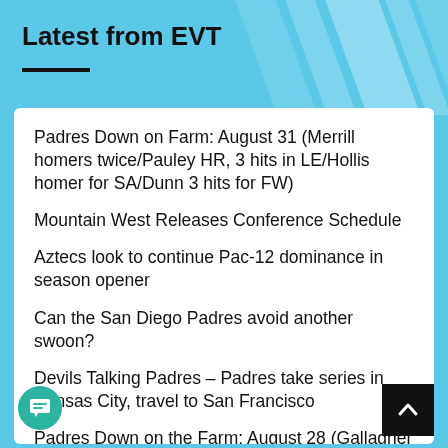Latest from EVT
Padres Down on Farm: August 31 (Merrill homers twice/Pauley HR, 3 hits in LE/Hollis homer for SA/Dunn 3 hits for FW)
Mountain West Releases Conference Schedule
Aztecs look to continue Pac-12 dominance in season opener
Can the San Diego Padres avoid another swoon?
Devils Talking Padres – Padres take series in Kansas City, travel to San Francisco
Padres Down on the Farm: August 28 (Gallagher resses in EP/Kopps Ks 4 in SA/Madrazo 3.1 FW/Geerdes 8 Ks in LE)